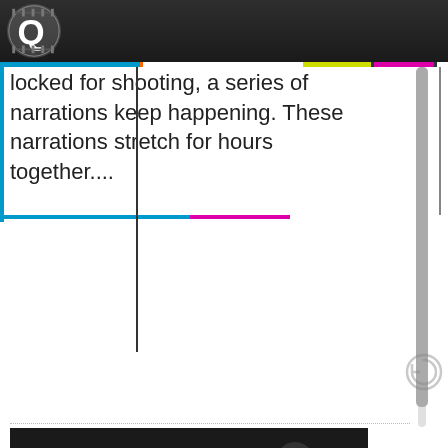iQlik Movies header
locked for shooting, a series of narrations keep happening. These narrations stretch for hours together....
[Figure (photo): Man in black shirt with 'Lobbying' text overlay — article thumbnail for Top Actors Started Lobbying Director Again]
Top Actors Started Lobbying Director Again
By iQlik Movies - 14 January 2016 18:05:57
Once you become a successful director and score a big hit, you must get ready to receive calls from big stars. They will not only congratulate you